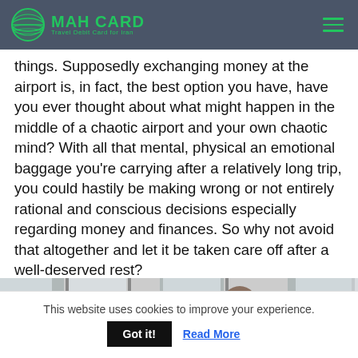MAH CARD — Travel Debit Card for Iran
things. Supposedly exchanging money at the airport is, in fact, the best option you have, have you ever thought about what might happen in the middle of a chaotic airport and your own chaotic mind? With all that mental, physical an emotional baggage you're carrying after a relatively long trip, you could hastily be making wrong or not entirely rational and conscious decisions especially regarding money and finances. So why not avoid that altogether and let it be taken care off after a well-deserved rest?
[Figure (photo): Partial view of a person at what appears to be an airport or transit area, seen from behind near windows.]
This website uses cookies to improve your experience.
Got it!  Read More